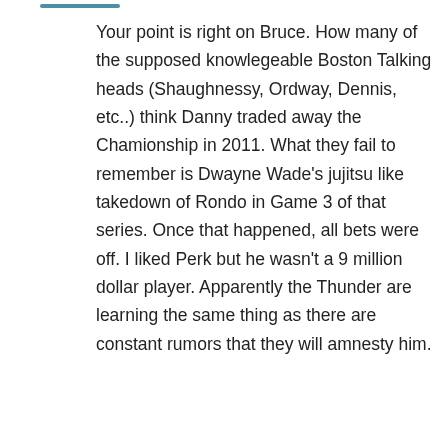Your point is right on Bruce. How many of the supposed knowlegeable Boston Talking heads (Shaughnessy, Ordway, Dennis, etc..) think Danny traded away the Chamionship in 2011. What they fail to remember is Dwayne Wade's jujitsu like takedown of Rondo in Game 3 of that series. Once that happened, all bets were off. I liked Perk but he wasn't a 9 million dollar player. Apparently the Thunder are learning the same thing as there are constant rumors that they will amnesty him.